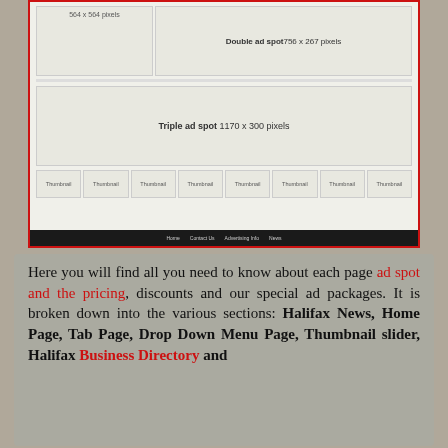[Figure (screenshot): Screenshot of a webpage showing ad spot layout: a single ad spot (564x564 pixels), a double ad spot (756x267 pixels), a triple ad spot (1170x300 pixels), a row of 8 thumbnail boxes, and a dark footer navigation bar with links: Home, Contact Us, Advertising Info, News.]
Here you will find all you need to know about each page ad spot and the pricing, discounts and our special ad packages. It is broken down into the various sections: Halifax News, Home Page, Tab Page, Drop Down Menu Page, Thumbnail slider, Halifax Business Directory and